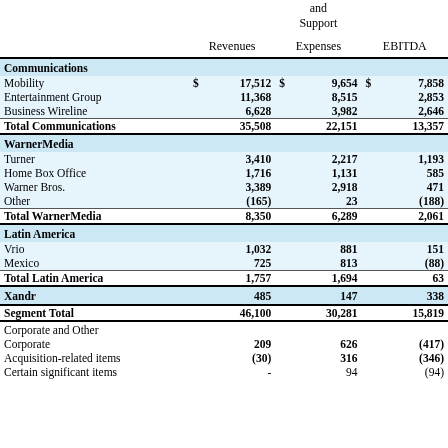|  | Revenues | Expenses | EBITDA |
| --- | --- | --- | --- |
| Communications |  |  |  |
| Mobility | $ 17,512 | $ 9,654 | $ 7,858 |
| Entertainment Group | 11,368 | 8,515 | 2,853 |
| Business Wireline | 6,628 | 3,982 | 2,646 |
| Total Communications | 35,508 | 22,151 | 13,357 |
| WarnerMedia |  |  |  |
| Turner | 3,410 | 2,217 | 1,193 |
| Home Box Office | 1,716 | 1,131 | 585 |
| Warner Bros. | 3,389 | 2,918 | 471 |
| Other | (165) | 23 | (188) |
| Total WarnerMedia | 8,350 | 6,289 | 2,061 |
| Latin America |  |  |  |
| Vrio | 1,032 | 881 | 151 |
| Mexico | 725 | 813 | (88) |
| Total Latin America | 1,757 | 1,694 | 63 |
| Xandr | 485 | 147 | 338 |
| Segment Total | 46,100 | 30,281 | 15,819 |
| Corporate and Other |  |  |  |
| Corporate | 209 | 626 | (417) |
| Acquisition-related items | (30) | 316 | (346) |
| Certain significant items | - | 94 | (94) |